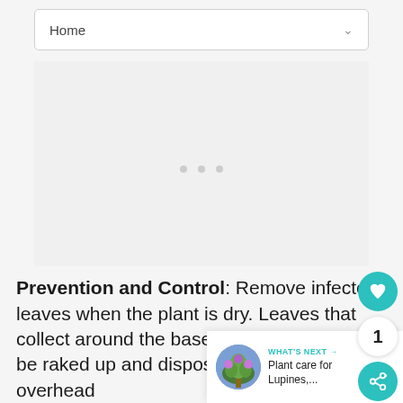Home
[Figure (screenshot): Advertisement placeholder area with three grey dots centered]
Prevention and Control: Remove infected leaves when the plant is dry. Leaves that collect around the base of the plant should be raked up and disposed of. Avoid overhead